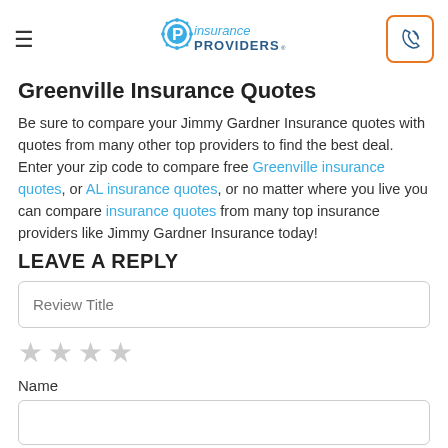Insurance Providers logo and navigation
Greenville Insurance Quotes
Be sure to compare your Jimmy Gardner Insurance quotes with quotes from many other top providers to find the best deal. Enter your zip code to compare free Greenville insurance quotes, or AL insurance quotes, or no matter where you live you can compare insurance quotes from many top insurance providers like Jimmy Gardner Insurance today!
LEAVE A REPLY
Review Title
★★★★
Name